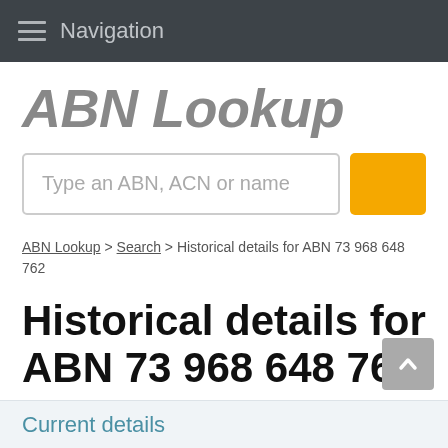Navigation
ABN Lookup
Type an ABN, ACN or name
ABN Lookup > Search > Historical details for ABN 73 968 648 762
Historical details for ABN 73 968 648 762
Current details